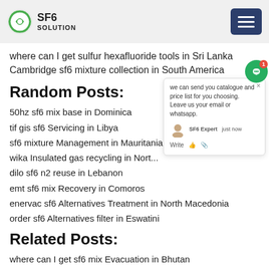SF6 SOLUTION
where can I get sulfur hexafluoride tools in Sri Lanka
Cambridge sf6 mixture collection in South America
Random Posts:
50hz sf6 mix base in Dominica
tif gis sf6 Servicing in Libya
sf6 mixture Management in Mauritania
wika Insulated gas recycling in Nort...
dilo sf6 n2 reuse in Lebanon
emt sf6 mix Recovery in Comoros
enervac sf6 Alternatives Treatment in North Macedonia
order sf6 Alternatives filter in Eswatini
Related Posts:
where can I get sf6 mix Evacuation in Bhutan